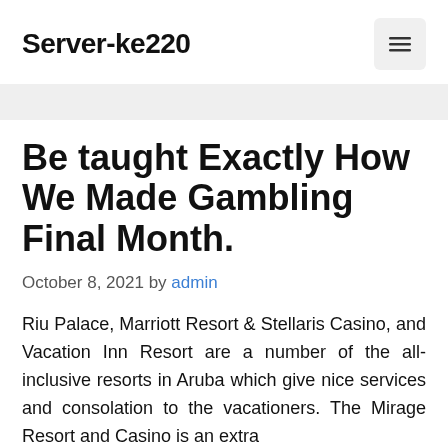Server-ke220
Be taught Exactly How We Made Gambling Final Month.
October 8, 2021 by admin
Riu Palace, Marriott Resort & Stellaris Casino, and Vacation Inn Resort are a number of the all-inclusive resorts in Aruba which give nice services and consolation to the vacationers. The Mirage Resort and Casino is an extra